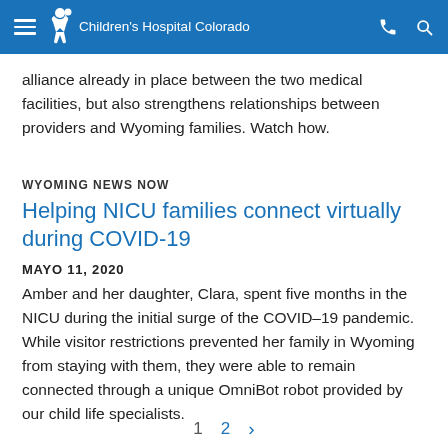Children's Hospital Colorado
alliance already in place between the two medical facilities, but also strengthens relationships between providers and Wyoming families. Watch how.
WYOMING NEWS NOW
Helping NICU families connect virtually during COVID-19
MAYO 11, 2020
Amber and her daughter, Clara, spent five months in the NICU during the initial surge of the COVID–19 pandemic. While visitor restrictions prevented her family in Wyoming from staying with them, they were able to remain connected through a unique OmniBot robot provided by our child life specialists.
1  2  >